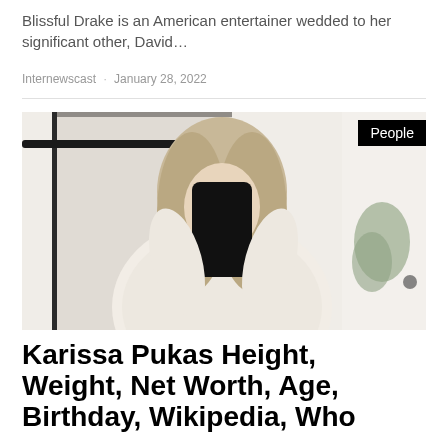Blissful Drake is an American entertainer wedded to her significant other, David…
Internewscast · January 28, 2022
[Figure (photo): A woman with blonde hair taking a mirror selfie wearing a cream/white knit sweater, with a black phone covering her face. A dark-framed mirror is visible behind her. A 'People' category tag is overlaid in the top-right corner.]
Karissa Pukas Height, Weight, Net Worth, Age, Birthday, Wikipedia, Who